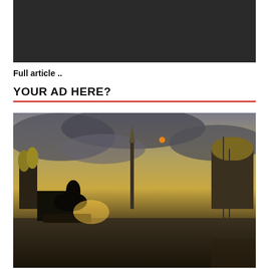[Figure (other): Dark banner/advertisement placeholder with dark background]
Full article ..
YOUR AD HERE?
[Figure (illustration): Fantasy/historical illustration of St. Petersburg cityscape with a bronze horseman statue silhouette, dramatic cloudy sky, church domes, spires, and ships. A semi-transparent cookie consent dialog overlays the lower center of the image with text 'By continuing to use the site, you agree to the use of cookies. more information' and an Accept button.]